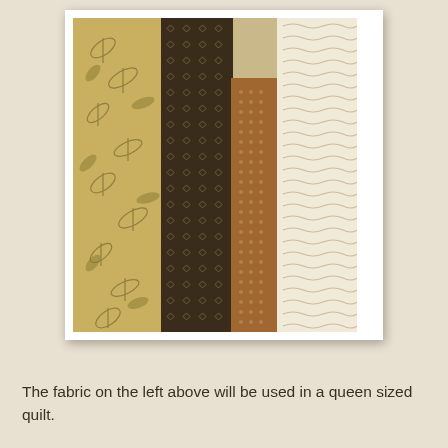[Figure (photo): Four fabric swatches laid side by side vertically: leftmost is a yellow/gold fabric with dark botanical leaf and fern print, second is a dark brown fabric with a small repeating diamond/dot pattern, third is a medium brown fabric with a small dot pattern, and rightmost is a white/cream fabric with a small repeating scroll or vine pattern in tan.]
The fabric on the left above will be used in a queen sized quilt.